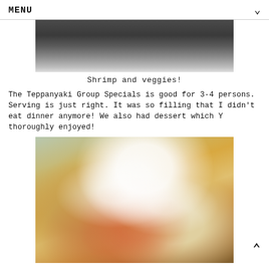MENU
[Figure (photo): Top portion of a food photo showing shrimp and vegetables on a dark pan/plate, dark background]
Shrimp and veggies!
The Teppanyaki Group Specials is good for 3-4 persons. Serving is just right. It was so filling that I didn't eat dinner anymore! We also had dessert which Y thoroughly enjoyed!
[Figure (photo): Close-up photo of a dessert dish with waffles, ice cream scoops, whipped cream, and red cherry/berry sauce drizzle on a plate]